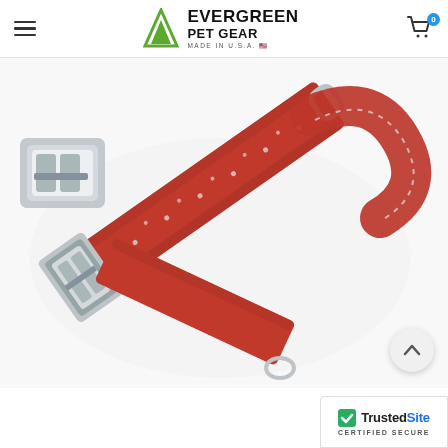Evergreen Pet Gear - Made in U.S.A.
[Figure (photo): A red reflective pet collar with a silver metal buckle/clasp, shown on a white background. The collar is made of red nylon webbing with small reflective dots. A metal D-ring is visible on one end.]
[Figure (logo): TrustedSite Certified Secure badge in the bottom right corner. Shows a green checkmark, 'TrustedSite' in bold with blue 'Site', and 'CERTIFIED SECURE' text below.]